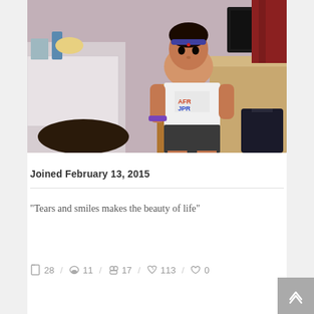[Figure (photo): A young girl sitting on a wooden chair in a room, wearing a white t-shirt and dark shorts with a purple bracelet, with furniture and red curtains in the background.]
Joined February 13, 2015
"Tears and smiles makes the beauty of life"
28 / 11 / 17 / 113 / 0